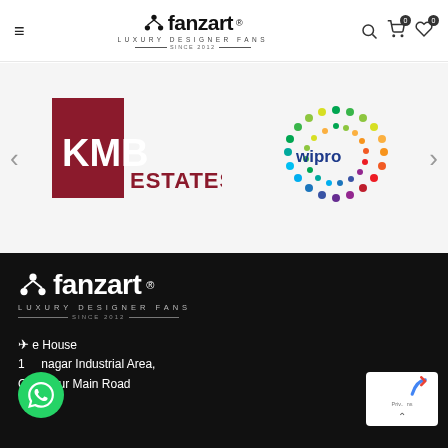[Figure (logo): Fanzart luxury designer fans header logo with hamburger menu and cart/wishlist icons]
[Figure (logo): KMB Estates logo - red square with KMB text and ESTATES in red]
[Figure (logo): Wipro colorful dot-circle logo with wipro text in blue]
[Figure (logo): Fanzart luxury designer fans footer logo in white on black background]
e House
1  nagar Industrial Area,
Off Hosur Main Road